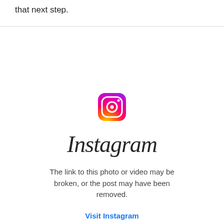that next step.
[Figure (logo): Instagram logo icon and wordmark with error message: The link to this photo or video may be broken, or the post may have been removed. Visit Instagram link.]